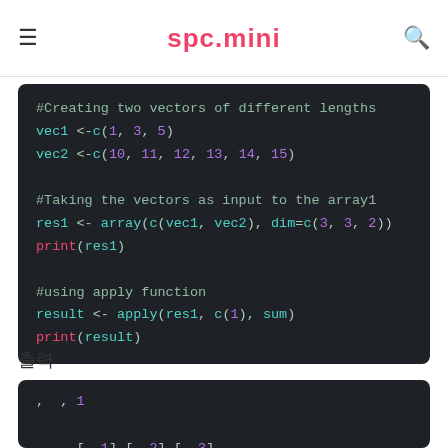spc.mini
[Figure (screenshot): Dark-themed R code block showing creation of two vectors of different lengths, using them as array input, and applying the apply function with sum]
출력
[Figure (screenshot): Dark-themed R console output block showing array result with , , 1 header, columns [, 1] [, 2] [, 3], rows [1,] 1 10 13 and beginning of [2,] row]